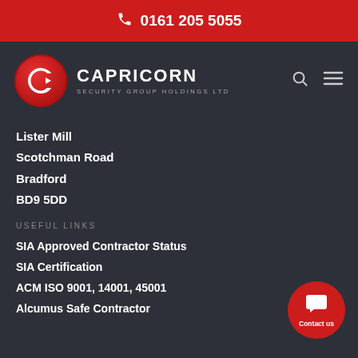0161 205 5055
[Figure (logo): Capricorn Security Group Holdings Ltd logo — red circular icon with stylized C/camera shape, white text CAPRICORN in large bold uppercase, SECURITY GROUP HOLDINGS LTD in smaller grey uppercase below]
Lister Mill
Scotchman Road
Bradford
BD9 5DD
USEFUL LINKS
SIA Approved Contractor Status
SIA Certification
ACM ISO 9001, 14001, 45001
Alcumus Safe Contractor